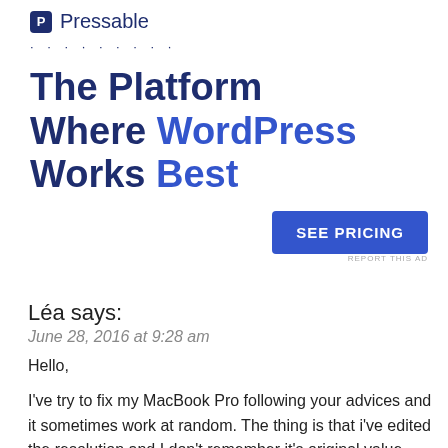[Figure (logo): Pressable logo with blue square icon showing letter P and the text Pressable]
The Platform Where WordPress Works Best
SEE PRICING
REPORT THIS AD
Léa says:
June 28, 2016 at 9:28 am
Hello,
I've try to fix my MacBook Pro following your advices and it sometimes work at random. The thing is that i've edited the resolution and I don't remember it's original value, can you tell me